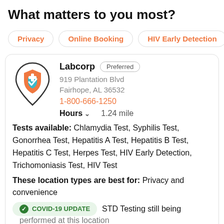What matters to you most?
Privacy
Online Booking
HIV Early Detection
Labcorp Preferred
919 Plantation Blvd
Fairhope, AL 36532
1-800-666-1250
Hours  1.24 mile
Tests available: Chlamydia Test, Syphilis Test, Gonorrhea Test, Hepatitis A Test, Hepatitis B Test, Hepatitis C Test, Herpes Test, HIV Early Detection, Trichomoniasis Test, HIV Test
These location types are best for: Privacy and convenience
COVID-19 UPDATE  STD Testing still being performed at this location